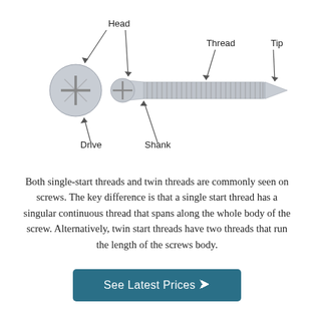[Figure (engineering-diagram): Labeled diagram of a screw showing its parts: Head (two views — front face and side/profile), Drive (cross/phillips drive on the head face), Shank (the smooth part of the shaft), Thread (the helical ridges on the shank), and Tip (the pointed end). Arrows point from each label to the corresponding part.]
Both single-start threads and twin threads are commonly seen on screws. The key difference is that a single start thread has a singular continuous thread that spans along the whole body of the screw. Alternatively, twin start threads have two threads that run the length of the screws body.
See Latest Prices →